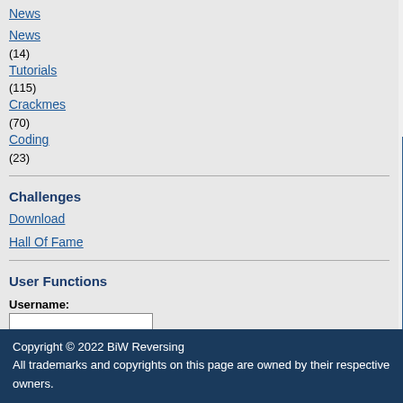News (14)
Tutorials (115)
Crackmes (70)
Coding (23)
Challenges
Download
Hall Of Fame
User Functions
Username:
Password:
Don't have an account yet? Sign up as a New User
Banners
Profile   Log in to check your p
www.reversing.be Forum Index
| Avatar | All about |
| --- | --- |
| New to the board | Join
Total po |
| Contact stephen | Locati
Webs
Occupati
Intere |
| E-mail address: |  |
| Private Message: |  |
| MSN Messenger: |  |
| Yahoo Messenger: |  |
| AIM Address: |  |
| ICQ Number: |  |
Powered by phpBB © 2001, 20
Copyright © 2022 BiW Reversing
All trademarks and copyrights on this page are owned by their respective owners.